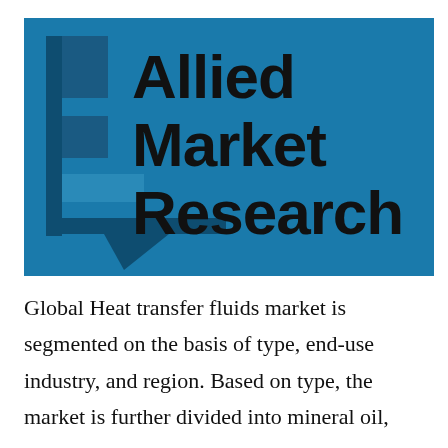[Figure (logo): Allied Market Research logo on a blue background with stylized bar chart icon on the left and bold text 'Allied Market Research' on the right, with a speech bubble shape at the bottom left.]
Global Heat transfer fluids market is segmented on the basis of type, end-use industry, and region. Based on type, the market is further divided into mineral oil,